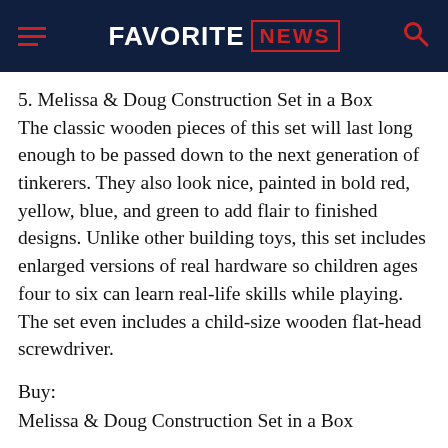FAVORITE NEWS
5. Melissa & Doug Construction Set in a Box The classic wooden pieces of this set will last long enough to be passed down to the next generation of tinkerers. They also look nice, painted in bold red, yellow, blue, and green to add flair to finished designs. Unlike other building toys, this set includes enlarged versions of real hardware so children ages four to six can learn real-life skills while playing. The set even includes a child-size wooden flat-head screwdriver.
Buy:
Melissa & Doug Construction Set in a Box
$15.33